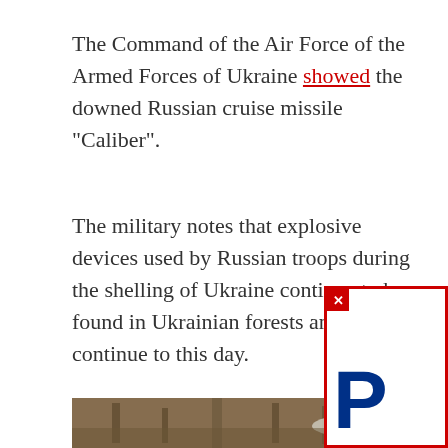The Command of the Air Force of the Armed Forces of Ukraine showed the downed Russian cruise missile "Caliber".
The military notes that explosive devices used by Russian troops during the shelling of Ukraine continue to be found in Ukrainian forests and lands and continue to this day.
[Figure (photo): A partial photograph showing ground with debris, sticks and what appears to be a downed missile or munition in a forest/outdoor setting.]
[Figure (screenshot): Partial view of a PayPal advertisement overlay with a red border, a red close button (x) in the top-left corner, and the beginning of the blue PayPal 'P' logo.]